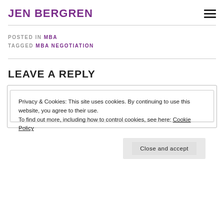JEN BERGREN
POSTED IN MBA
TAGGED MBA NEGOTIATION
LEAVE A REPLY
Privacy & Cookies: This site uses cookies. By continuing to use this website, you agree to their use.
To find out more, including how to control cookies, see here: Cookie Policy
Close and accept